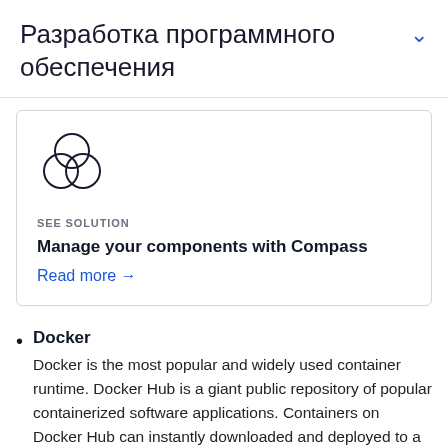Разработка программного обеспечения
[Figure (logo): Compass logo — three overlapping circles forming a Venn diagram icon in dark outline style]
SEE SOLUTION
Manage your components with Compass
Read more →
Docker
Docker is the most popular and widely used container runtime. Docker Hub is a giant public repository of popular containerized software applications. Containers on Docker Hub can instantly downloaded and deployed to a local